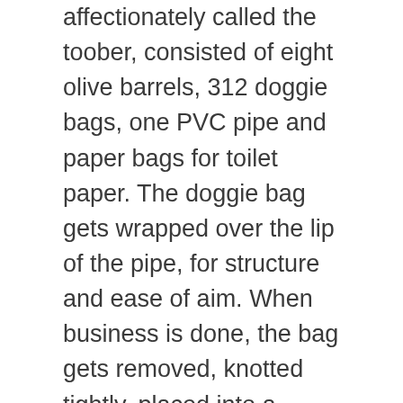affectionately called the toober, consisted of eight olive barrels, 312 doggie bags, one PVC pipe and paper bags for toilet paper. The doggie bag gets wrapped over the lip of the pipe, for structure and ease of aim. When business is done, the bag gets removed, knotted tightly, placed into a communal Ziploc bag, and then stored in a garbage bag-lined olive barrel. His head popping up behind the rocks, Caleb declares the system approved and offers it up to the next in line.
[ Further reading: 8 Essentials For Paddling The Grand Canyon ]
Our first morning on the river, packing the canoes is a time-consuming task as each team learns how to balance their boat perfectly. We all fidget drifting in